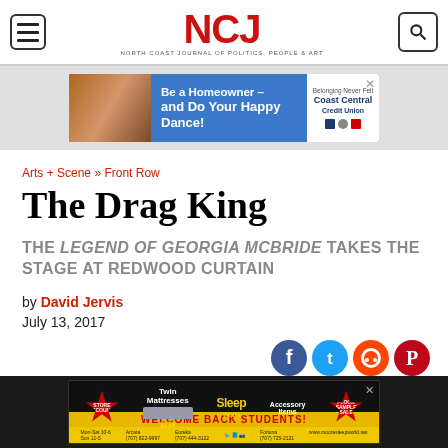NCJ — North Coast Journal of Politics, People & Art
[Figure (other): Top advertisement banner: Be a Homeowner - and Do Your Happy Dance! Coast Central Credit Union]
Arts + Scene » Front Row
The Drag King
THE LEGEND OF GEORGIA MCBRIDE TAKES THE STAGE AT REDWOOD CURTAIN
by David Jervis
July 13, 2017
[Figure (other): Social media share icons: Facebook, Twitter, Reddit, Pinterest]
[Figure (other): Bottom advertisement: Mattress store - Welcome Back Students! Moore Sleep World]